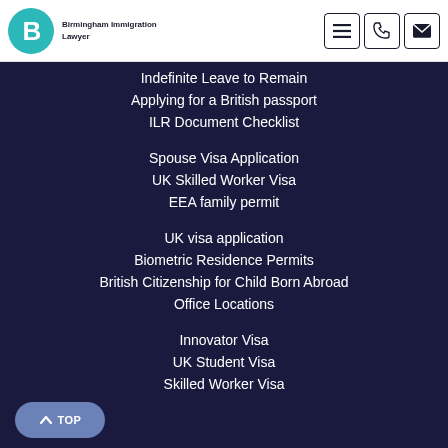Birmingham Immigration Lawyer
Indefinite Leave to Remain
Applying for a British passport
ILR Document Checklist
Spouse Visa Application
UK Skilled Worker Visa
EEA family permit
UK visa application
Biometric Residence Permits
British Citizenship for Child Born Abroad
Office Locations
Innovator Visa
UK Student Visa
Skilled Worker Visa